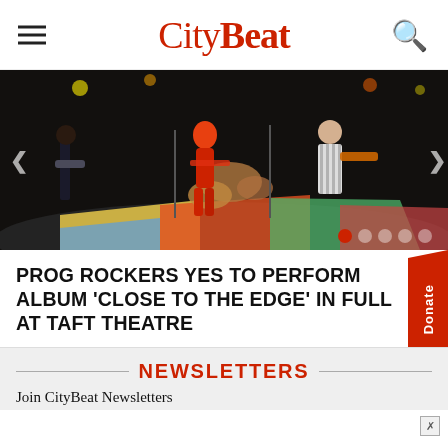CityBeat
[Figure (photo): Band performing on a colorful stage with multiple musicians; dark background with colorful floor lighting]
PROG ROCKERS YES TO PERFORM ALBUM 'CLOSE TO THE EDGE' IN FULL AT TAFT THEATRE
NEWSLETTERS
Join CityBeat Newsletters